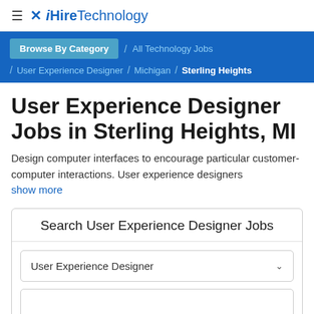≡ iHireTechnology
Browse By Category / All Technology Jobs / User Experience Designer / Michigan / Sterling Heights
User Experience Designer Jobs in Sterling Heights, MI
Design computer interfaces to encourage particular customer-computer interactions. User experience designers show more
Search User Experience Designer Jobs
User Experience Designer
Sterling Heights, MI